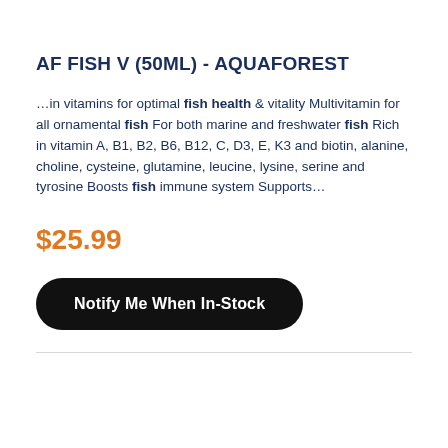AF FISH V (50ML) - AQUAFOREST
…in vitamins for optimal fish health & vitality Multivitamin for all ornamental fish For both marine and freshwater fish Rich in vitamin A, B1, B2, B6, B12, C, D3, E, K3 and biotin, alanine, choline, cysteine, glutamine, leucine, lysine, serine and tyrosine Boosts fish immune system Supports…
$25.99
Notify Me When In-Stock